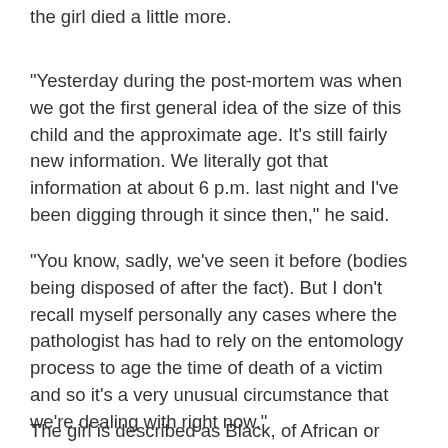the girl died a little more.
"Yesterday during the post-mortem was when we got the first general idea of the size of this child and the approximate age. It's still fairly new information. We literally got that information at about 6 p.m. last night and I've been digging through it since then," he said.
"You know, sadly, we've seen it before (bodies being disposed of after the fact). But I don't recall myself personally any cases where the pathologist has had to rely on the entomology process to age the time of death of a victim and so it's a very unusual circumstance that we're dealing with right now."
The girl is described as Black, of African or